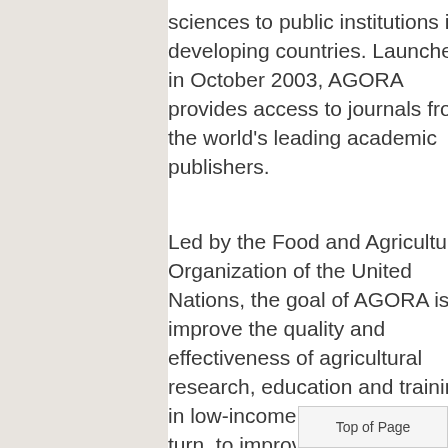sciences to public institutions in developing countries. Launched in October 2003, AGORA provides access to journals from the world's leading academic publishers.
Led by the Food and Agriculture Organization of the United Nations, the goal of AGORA is to improve the quality and effectiveness of agricultural research, education and training in low-income countries, and in turn, to improve food security. Through AGORA, researchers, policy-
Top of Page